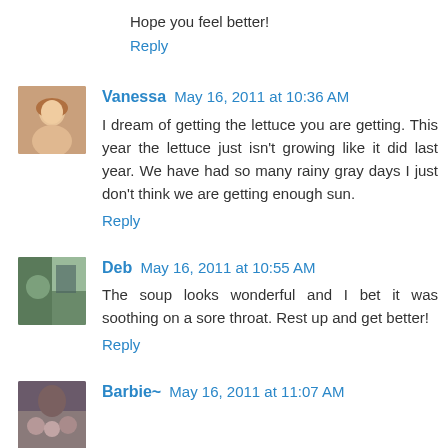Hope you feel better!
Reply
Vanessa May 16, 2011 at 10:36 AM
I dream of getting the lettuce you are getting. This year the lettuce just isn't growing like it did last year. We have had so many rainy gray days I just don't think we are getting enough sun.
Reply
Deb May 16, 2011 at 10:55 AM
The soup looks wonderful and I bet it was soothing on a sore throat. Rest up and get better!
Reply
Barbie~ May 16, 2011 at 11:07 AM